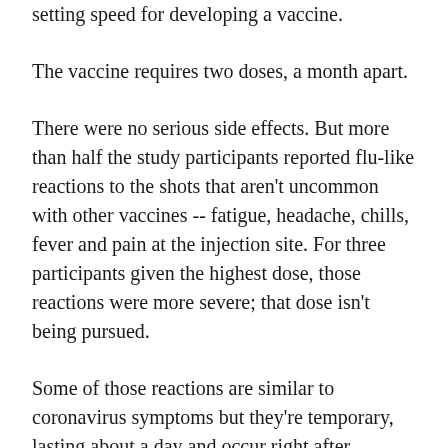have results around the end of the year -- record-setting speed for developing a vaccine.
The vaccine requires two doses, a month apart.
There were no serious side effects. But more than half the study participants reported flu-like reactions to the shots that aren't uncommon with other vaccines -- fatigue, headache, chills, fever and pain at the injection site. For three participants given the highest dose, those reactions were more severe; that dose isn't being pursued.
Some of those reactions are similar to coronavirus symptoms but they're temporary, lasting about a day and occur right after vaccination, researchers noted.